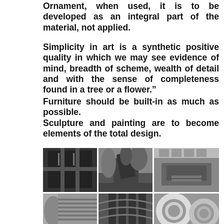Ornament, when used, it is to be developed as an integral part of the material, not applied.
Simplicity in art is a synthetic positive quality in which we may see evidence of mind, breadth of scheme, wealth of detail and with the sense of completeness found in a tree or a flower.”
Furniture should be built-in as much as possible.
Sculpture and painting are to become elements of the total design.
[Figure (photo): Black and white photo of geometric window grid structure]
[Figure (photo): Black and white photo of building exterior with trees]
[Figure (photo): Black and white photo of interior architectural space with glass ceiling]
[Figure (photo): Black and white photo of architectural column and structure]
[Figure (photo): Black and white photo of curved architectural details or pipes]
[Figure (photo): Black and white photo of circular mechanical or architectural elements]